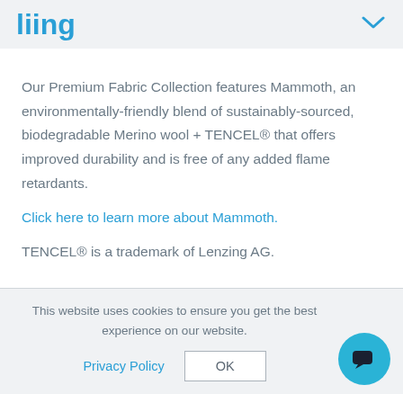liing
Our Premium Fabric Collection features Mammoth, an environmentally-friendly blend of sustainably-sourced, biodegradable Merino wool + TENCEL® that offers improved durability and is free of any added flame retardants.
Click here to learn more about Mammoth.
TENCEL® is a trademark of Lenzing AG.
This website uses cookies to ensure you get the best experience on our website.
Privacy Policy   OK